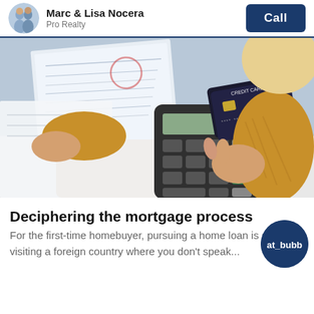Marc & Lisa Nocera | Pro Realty | Call
[Figure (photo): Person holding a credit card over a calculator, with documents/papers in the background, suggesting financial planning or mortgage activity.]
Deciphering the mortgage process
For the first-time homebuyer, pursuing a home loan is a bit like visiting a foreign country where you don't speak...
[Figure (logo): Circular dark blue logo with text 'at_bubb' partially visible]